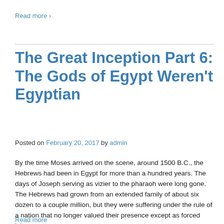Read more ›
The Great Inception Part 6: The Gods of Egypt Weren't Egyptian
Posted on February 20, 2017 by admin
By the time Moses arrived on the scene, around 1500 B.C., the Hebrews had been in Egypt for more than a hundred years. The days of Joseph serving as vizier to the pharaoh were long gone. The Hebrews had grown from an extended family of about six dozen to a couple million, but they were suffering under the rule of a nation that no longer valued their presence except as forced labor.
Read more